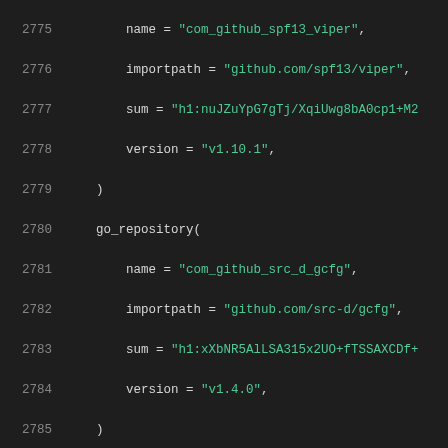Code listing lines 2775-2796 showing go_repository entries for spf13/viper, src-d/gcfg, stoewer/go-strcase, and streadway/amqp